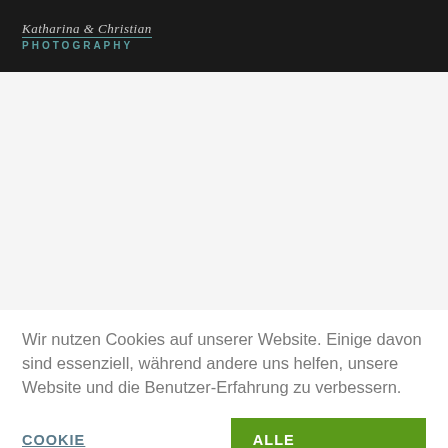Katharina & Christian PHOTOGRAPHY
[Figure (photo): Large blank/white content area of a photography website below the header nav bar]
Wir nutzen Cookies auf unserer Website. Einige davon sind essenziell, während andere uns helfen, unsere Website und die Benutzer-Erfahrung zu verbessern.
COOKIE EINSTELLUNGEN   ALLE AKZEPTIEREN